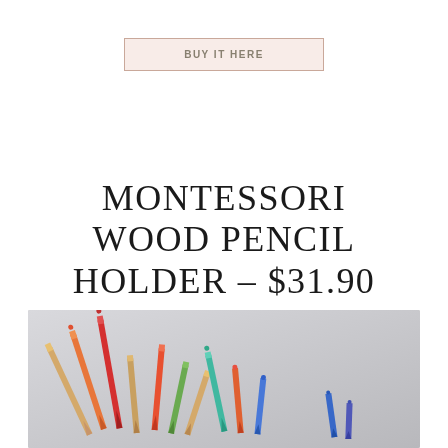BUY IT HERE
MONTESSORI WOOD PENCIL HOLDER – $31.90
[Figure (photo): Photograph of colorful pencils tips pointing upward in a wood pencil holder, against a light grey background. Multiple colored pencils visible including orange, red, green, teal, blue, and natural wood-colored pencils.]